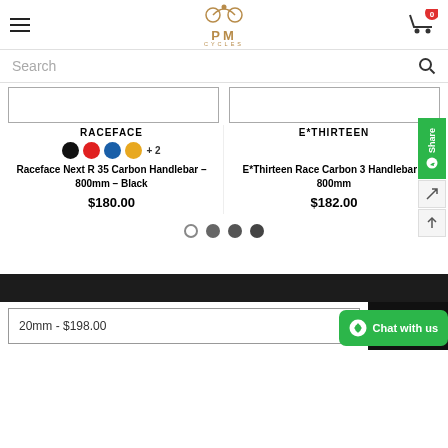PM Cycles - Navigation header with menu, logo, and cart
Search
RACEFACE
Raceface Next R 35 Carbon Handlebar - 800mm - Black
$180.00
E*THIRTEEN
E*Thirteen Race Carbon 3 Handlebar - 800mm
$182.00
20mm - $198.00
ADD TO
Chat with us